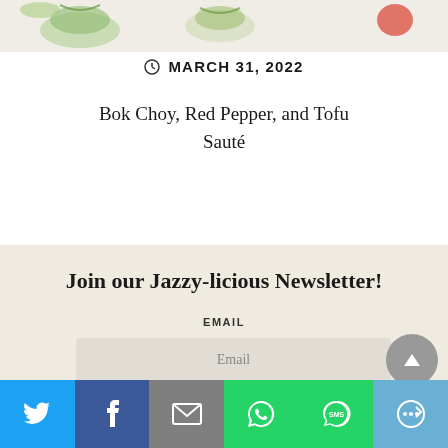[Figure (photo): Partial top edge of a food photo showing vegetables and flowers — bok choy, red pepper, tofu sauté dish]
MARCH 31, 2022
Bok Choy, Red Pepper, and Tofu Sauté
Join our Jazzy-licious Newsletter!
EMAIL
Email
[Figure (screenshot): Social share bar at bottom with Twitter, Facebook, Email, WhatsApp, SMS, and More icons]